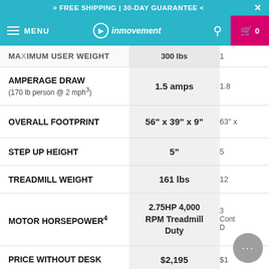> FREE SHIPPING | 30-DAY GUARANTEE <
MENU | inmovement | 0
| Specification | Value 1 | Value 2 |
| --- | --- | --- |
| MAXIMUM USER WEIGHT | 300 lbs | 1 |
| AMPERAGE DRAW (170 lb person @ 2 mph³) | 1.5 amps | 1.8 |
| OVERALL FOOTPRINT | 56" x 39" x 9" | 63" x ... |
| STEP UP HEIGHT | 5" | 5 |
| TREADMILL WEIGHT | 161 lbs | 12 |
| MOTOR HORSEPOWER⁴ | 2.75HP 4,000 RPM Treadmill Duty | 3 Cont D |
| PRICE WITHOUT DESK | $2,195 | $1 |
| PRICE WITH DESK | $2,790 | $2 |